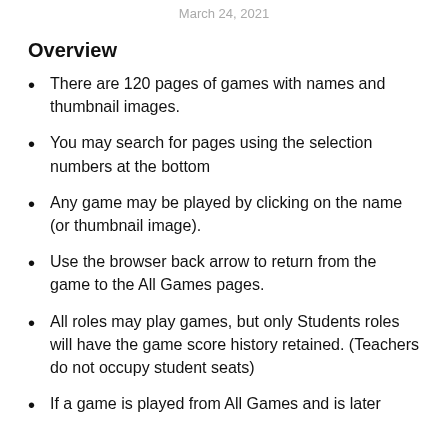March 24, 2021
Overview
There are 120 pages of games with names and thumbnail images.
You may search for pages using the selection numbers at the bottom
Any game may be played by clicking on the name (or thumbnail image).
Use the browser back arrow to return from the game to the All Games pages.
All roles may play games, but only Students roles will have the game score history retained. (Teachers do not occupy student seats)
If a game is played from All Games and is later